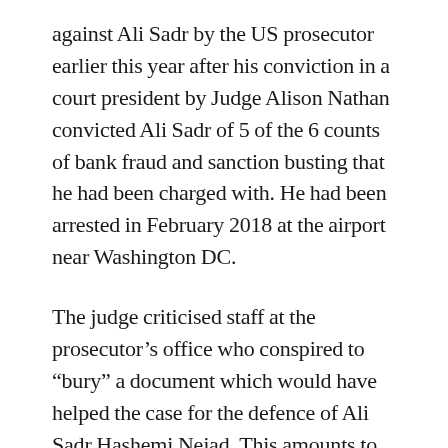against Ali Sadr by the US prosecutor earlier this year after his conviction in a court president by Judge Alison Nathan convicted Ali Sadr of 5 of the 6 counts of bank fraud and sanction busting that he had been charged with. He had been arrested in February 2018 at the airport near Washington DC.
The judge criticised staff at the prosecutor's office who conspired to "bury" a document which would have helped the case for the defence of Ali Sadr Hashemi Nejad. This amounts to what is called a Brady violation after the seminal 1963 case Brady v. Maryland when the US Supreme Court ruled that prosecutors are obliged to disclose any evidence in their possession that could help acquit the person under prosecution.